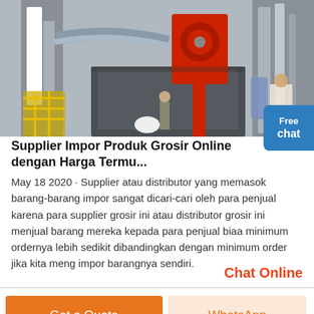[Figure (photo): Industrial machinery photo showing large metal equipment, pipe ducts, red crane/winch mechanism, yellow scaffolding, and a worker in a factory/industrial setting.]
Supplier Impor Produk Grosir Online dengan Harga Termu...
May 18 2020 · Supplier atau distributor yang memasok barang-barang impor sangat dicari-cari oleh para penjual karena para supplier grosir ini atau distributor grosir ini menjual barang mereka kepada para penjual biaa minimum ordernya lebih sedikit dibandingkan dengan minimum order jika kita meng impor barangnya sendiri.
Chat Online